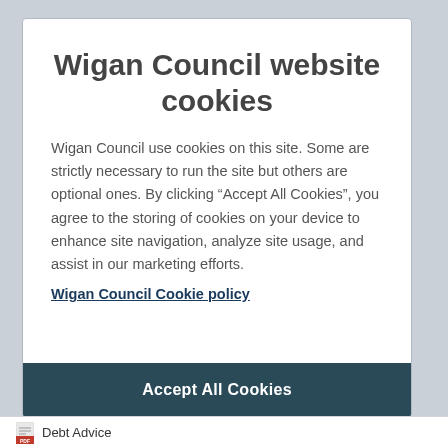Wigan Council website cookies
Wigan Council use cookies on this site. Some are strictly necessary to run the site but others are optional ones. By clicking “Accept All Cookies”, you agree to the storing of cookies on your device to enhance site navigation, analyze site usage, and assist in our marketing efforts.
Wigan Council Cookie policy
Accept All Cookies
Debt Advice